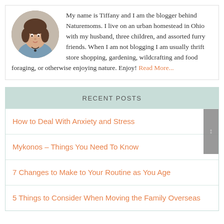[Figure (photo): Circular portrait photo of Tiffany, a woman with dark hair wearing a necklace and blue top]
My name is Tiffany and I am the blogger behind Naturemoms. I live on an urban homestead in Ohio with my husband, three children, and assorted furry friends. When I am not blogging I am usually thrift store shopping, gardening, wildcrafting and food foraging, or otherwise enjoying nature. Enjoy! Read More...
RECENT POSTS
How to Deal With Anxiety and Stress
Mykonos – Things You Need To Know
7 Changes to Make to Your Routine as You Age
5 Things to Consider When Moving the Family Overseas